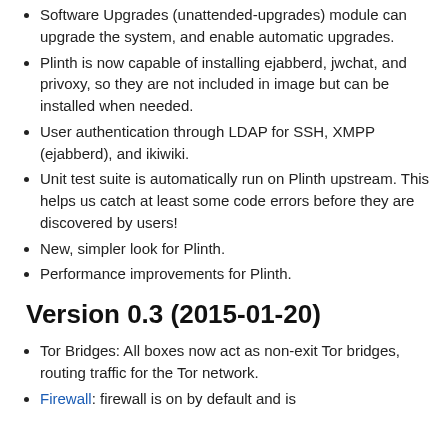Software Upgrades (unattended-upgrades) module can upgrade the system, and enable automatic upgrades.
Plinth is now capable of installing ejabberd, jwchat, and privoxy, so they are not included in image but can be installed when needed.
User authentication through LDAP for SSH, XMPP (ejabberd), and ikiwiki.
Unit test suite is automatically run on Plinth upstream. This helps us catch at least some code errors before they are discovered by users!
New, simpler look for Plinth.
Performance improvements for Plinth.
Version 0.3 (2015-01-20)
Tor Bridges: All boxes now act as non-exit Tor bridges, routing traffic for the Tor network.
Firewall: firewall is on by default and is